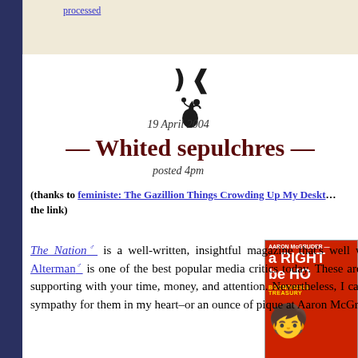processed
[Figure (illustration): Decorative divider icon — a small black stylized symbol resembling a flower or cherry]
19 April 2004
— Whited sepulchres —
posted 4pm
(thanks to feministe: The Gazillion Things Crowding Up My Desktop for the link)
The Nation is a well-written, insightful magazine that's well worth reading. Eric Alterman is one of the best popular media critics today. These are people well worth supporting with your time, money, and attention. Nevertheless, I can't find an ounce of sympathy for them in my heart–or an ounce of pique at Aaron McGruder–on
[Figure (photo): Book cover: 'A Right to be Ho...' — a Boondocks Treasury book by Aaron McGruder, red cover with cartoon character]